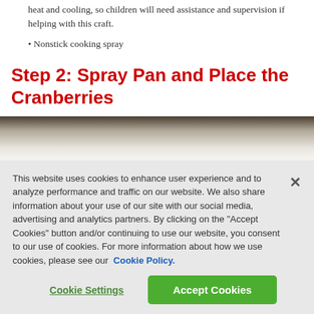heat and cooling, so children will need assistance and supervision if helping with this craft.
• Nonstick cooking spray
Step 2: Spray Pan and Place the Cranberries
[Figure (photo): Close-up photo of a white ceramic or porcelain baking pan, showing its ridged inner surface, sprayed with nonstick cooking spray]
This website uses cookies to enhance user experience and to analyze performance and traffic on our website. We also share information about your use of our site with our social media, advertising and analytics partners. By clicking on the "Accept Cookies" button and/or continuing to use our website, you consent to our use of cookies. For more information about how we use cookies, please see our Cookie Policy.
Cookie Settings
Accept Cookies